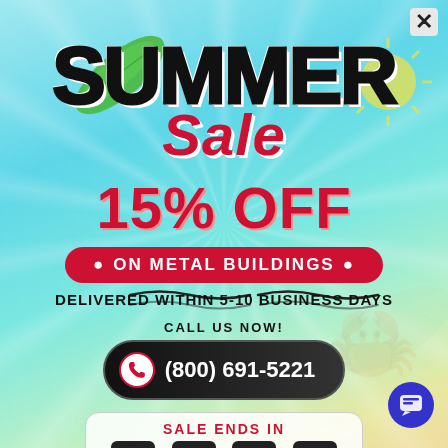[Figure (infographic): Summer Sale promotional popup with tropical beach background, palm leaf decoration, sun graphic, and wave decorations]
SUMMER Sale
15% OFF
• ON METAL BUILDINGS •
DELIVERED WITHIN 5-10 BUSINESS DAYS
CALL US NOW!
(800) 691-5221
SALE ENDS IN
0 : 2 : 47 : 20
DAYS  HRS  MIN  SEC
*Offer Valid in the Limited States Only*